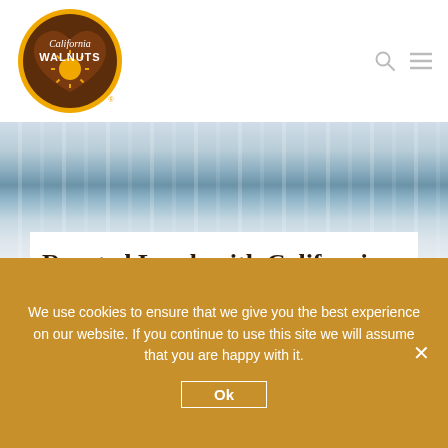[Figure (logo): California Walnuts logo — brown heart-shaped walnut with yellow/orange sun burst, text 'California' in italic script above 'WALNUTS' in bold, with small sun icon below]
Roasted Lamb with California Walnut Salsa
April 11th, 2022 | Categories: Recipes | Tags: Dinner, Easter, Lunch, Main Meal
We use cookies to ensure that we give you the best experience on our website. If you continue to use this site we will assume that you are happy with it.
Ok